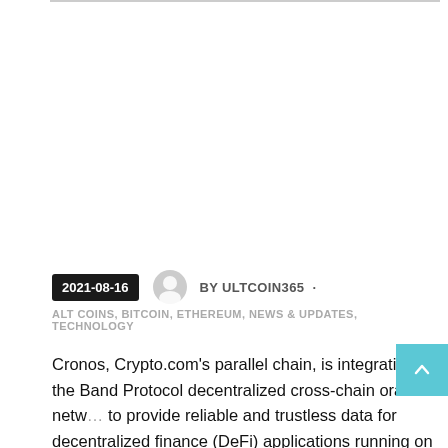2021-08-16  BY ULTCOIN365 ·
ALT COINS, BITCOIN, ETHEREUM, NEWS & UPDATES, TECHNOLOGY
Cronos, Crypto.com's parallel chain, is integrating the Band Protocol decentralized cross-chain oracle netw… to provide reliable and trustless data for decentralized finance (DeFi) applications running on it.
Cronos announced the integration of a Band Protocol